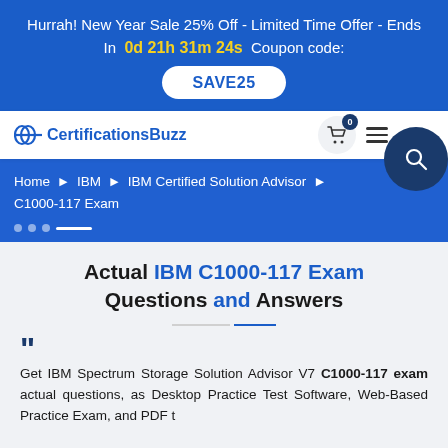Hurrah! New Year Sale 25% Off - Limited Time Offer - Ends In 0d 21h 31m 24s Coupon code: SAVE25
[Figure (logo): CertificationsBuzz logo with stylized icon]
Home ► IBM ► IBM Certified Solution Advisor ► C1000-117 Exam
Actual IBM C1000-117 Exam Questions and Answers
Get IBM Spectrum Storage Solution Advisor V7 C1000-117 exam actual questions, as Desktop Practice Test Software, Web-Based Practice Exam, and PDF...